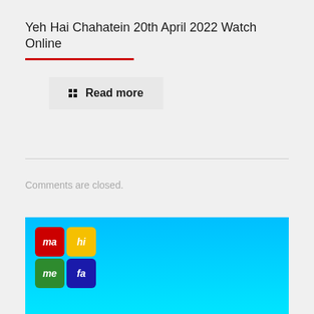Yeh Hai Chahatein 20th April 2022 Watch Online
Read more
Comments are closed.
[Figure (illustration): Blue gradient background with a 2x2 logo grid in the top-left corner. The logo contains four colored tiles: red tile with 'ma', yellow tile with 'hi', green tile with 'me', and blue tile with 'fa'.]